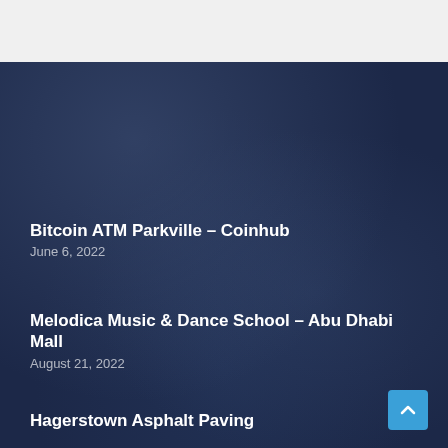Business Listings
Bitcoin ATM Parkville – Coinhub
June 6, 2022
Melodica Music & Dance School – Abu Dhabi Mall
August 21, 2022
Hagerstown Asphalt Paving